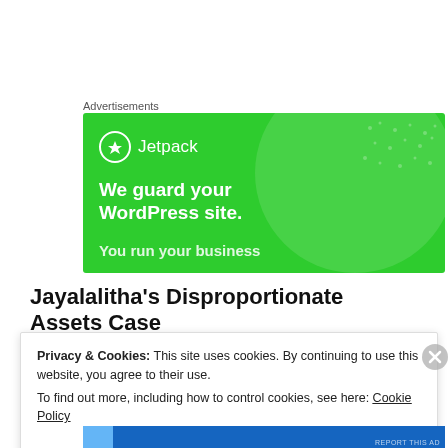Advertisements
[Figure (screenshot): Jetpack advertisement banner on green background with text 'We guard your WordPress site. You run your business.']
Jayalalitha's Disproportionate Assets Case
Privacy & Cookies: This site uses cookies. By continuing to use this website, you agree to their use.
To find out more, including how to control cookies, see here: Cookie Policy
Close and accept